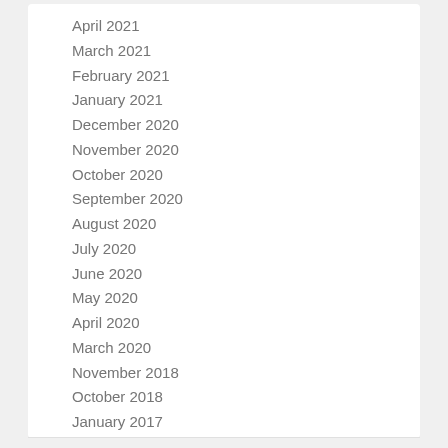April 2021
March 2021
February 2021
January 2021
December 2020
November 2020
October 2020
September 2020
August 2020
July 2020
June 2020
May 2020
April 2020
March 2020
November 2018
October 2018
January 2017